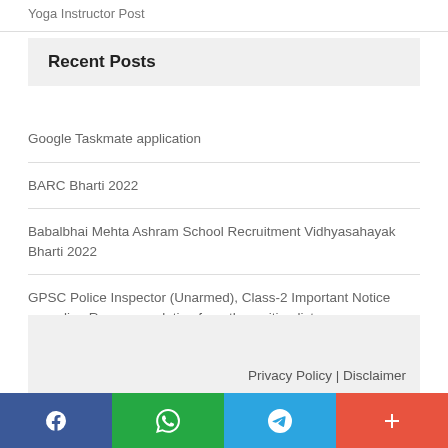Yoga Instructor Post
Recent Posts
Google Taskmate application
BARC Bharti 2022
Babalbhai Mehta Ashram School Recruitment Vidhyasahayak Bharti 2022
GPSC Police Inspector (Unarmed), Class-2 Important Notice regarding Recommendation from the waiting list
IBPS Clerk Prelims Call Letter 2022 Out
Privacy Policy | Disclaimer